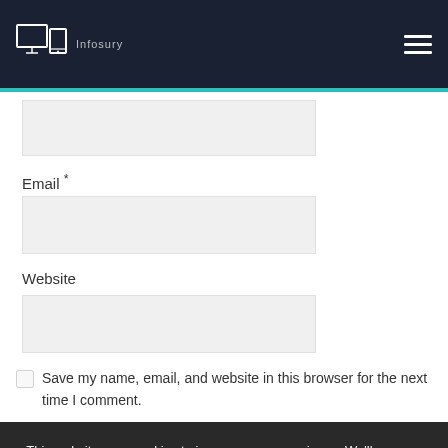Infosury
Email *
Website
Save my name, email, and website in this browser for the next time I comment.
This website uses cookies to improve your experience. We'll assume you're ok with this, but you can opt-out if you wish.
Cookie settings
ACCEPT